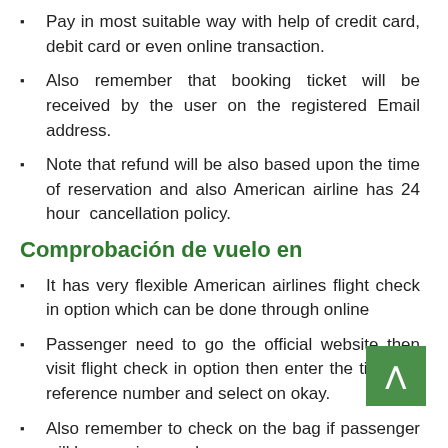Pay in most suitable way with help of credit card, debit card or even online transaction.
Also remember that booking ticket will be received by the user on the registered Email address.
Note that refund will be also based upon the time of reservation and also American airline has 24 hour cancellation policy.
Comprobación de vuelo en
It has very flexible American airlines flight check in option which can be done through online
Passenger need to go the official website then visit flight check in option then enter the ticket or reference number and select on okay.
Also remember to check on the bag if passenger will be carrying any luggage.
Política de cancelación de